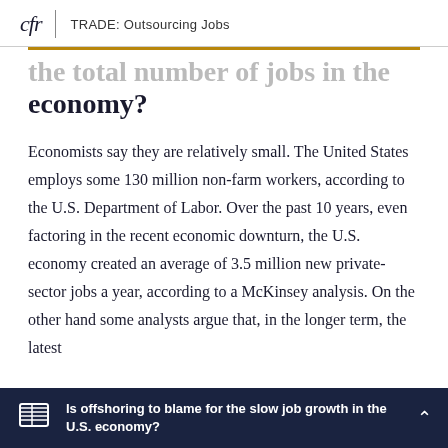cfr | TRADE: Outsourcing Jobs
the total number of jobs in the economy?
Economists say they are relatively small. The United States employs some 130 million non-farm workers, according to the U.S. Department of Labor. Over the past 10 years, even factoring in the recent economic downturn, the U.S. economy created an average of 3.5 million new private-sector jobs a year, according to a McKinsey analysis. On the other hand some analysts argue that, in the longer term, the latest
Is offshoring to blame for the slow job growth in the U.S. economy?